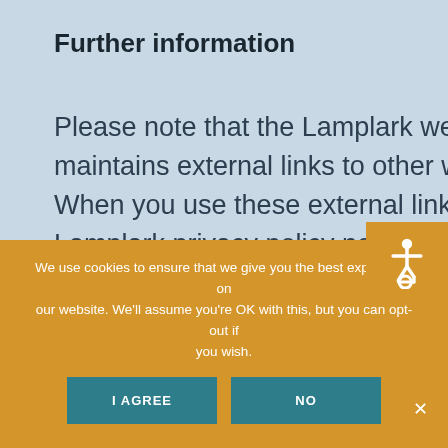Further information
Please note that the Lamplark website maintains external links to other websites. When you use these external links the Lamplark privacy policy no longer applie
[Figure (illustration): Accessibility icon (wheelchair symbol) on orange/amber background square, positioned at top-right]
In Summary
We are committed to protecting your
We use cookies to ensure that we give you the best experience on our website. We'll assume you're OK with this, but you can opt-out if you wish.